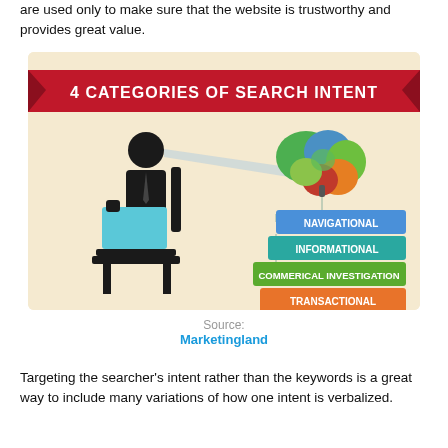are used only to make sure that the website is trustworthy and provides great value.
[Figure (infographic): Infographic titled '4 CATEGORIES OF SEARCH INTENT' showing a person sitting at a laptop with a beam pointing to a colorful brain. Lines from the brain connect to four labeled boxes: NAVIGATIONAL (blue), INFORMATIONAL (teal/green), COMMERICAL INVESTIGATION (green), TRANSACTIONAL (orange). Source: Marketingland.]
Source:
Marketingland
Targeting the searcher's intent rather than the keywords is a great way to include many variations of how one intent is verbalized.